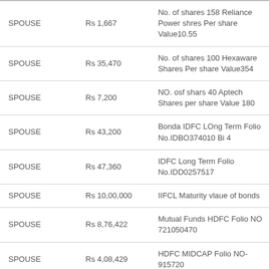| SPOUSE | Rs 1,667 | No. of shares 158 Reliance Power shres Per share Value10.55 |
| SPOUSE | Rs 35,470 | No. of shares 100 Hexaware Shares Per share Value354 |
| SPOUSE | Rs 7,200 | NO. osf shars 40 Aptech Shares per share Value 180 |
| SPOUSE | Rs 43,200 | Bonda IDFC LOng Term Folio No.IDBO374010 Bi 4 |
| SPOUSE | Rs 47,360 | IDFC Long Term Folio No.IDD0257517 |
| SPOUSE | Rs 10,00,000 | IIFCL Maturity vlaue of bonds |
| SPOUSE | Rs 8,76,422 | Mutual Funds HDFC Folio NO 721050470 |
| SPOUSE | Rs 4,08,429 | HDFC MIDCAP Folio NO-915720 |
| SPOUSE |  | HDFC Equity Foli No- |